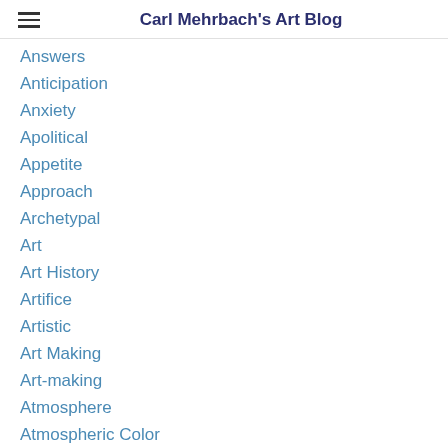Carl Mehrbach's Art Blog
Answers
Anticipation
Anxiety
Apolitical
Appetite
Approach
Archetypal
Art
Art History
Artifice
Artistic
Art Making
Art-making
Atmosphere
Atmospheric Color
Attention
Attitude
Attractive